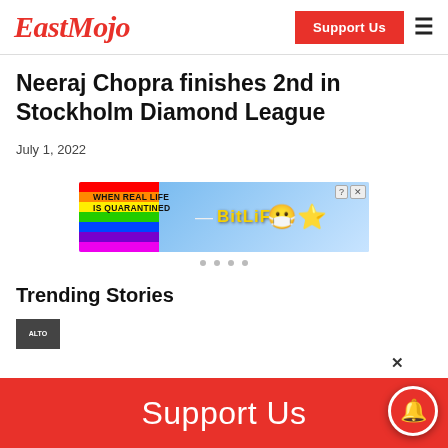EastMojo
Neeraj Chopra finishes 2nd in Stockholm Diamond League
July 1, 2022
[Figure (infographic): BitLife advertisement banner: rainbow on left, text 'WHEN REAL LIFE IS QUARANTINED', BitLife logo in yellow, emoji characters on right, close button top right]
Trending Stories
[Figure (screenshot): Thumbnail image for a trending story article]
Support Us